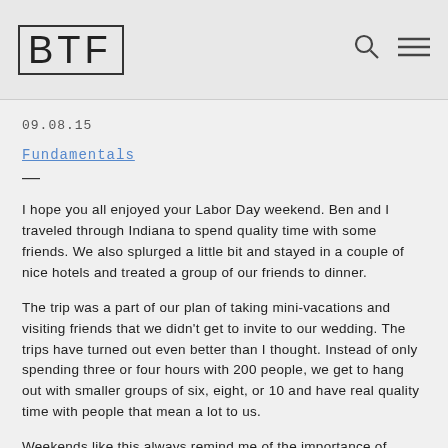BTF
09.08.15
Fundamentals
—
I hope you all enjoyed your Labor Day weekend. Ben and I traveled through Indiana to spend quality time with some friends. We also splurged a little bit and stayed in a couple of nice hotels and treated a group of our friends to dinner.
The trip was a part of our plan of taking mini-vacations and visiting friends that we didn't get to invite to our wedding. The trips have turned out even better than I thought. Instead of only spending three or four hours with 200 people, we get to hang out with smaller groups of six, eight, or 10 and have real quality time with people that mean a lot to us.
Weekends like this always remind me of the importance of spending money on yourself and keeping your budget in balance.
As someone who is pretty militant about his money, I know